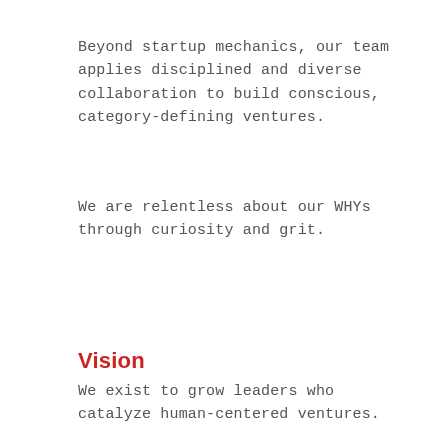Beyond startup mechanics, our team applies disciplined and diverse collaboration to build conscious, category-defining ventures.
We are relentless about our WHYs through curiosity and grit.
Vision
We exist to grow leaders who catalyze human-centered ventures.
Mission
Change the future of how investors convert